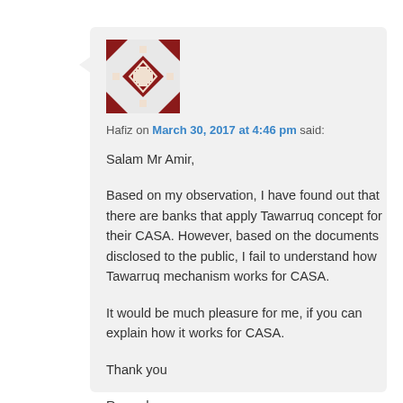[Figure (illustration): Avatar image — decorative geometric pattern in dark red and white, square with angular motifs]
Hafiz on March 30, 2017 at 4:46 pm said:
Salam Mr Amir,

Based on my observation, I have found out that there are banks that apply Tawarruq concept for their CASA. However, based on the documents disclosed to the public, I fail to understand how Tawarruq mechanism works for CASA.

It would be much pleasure for me, if you can explain how it works for CASA.

Thank you

Regards,
Hafiz